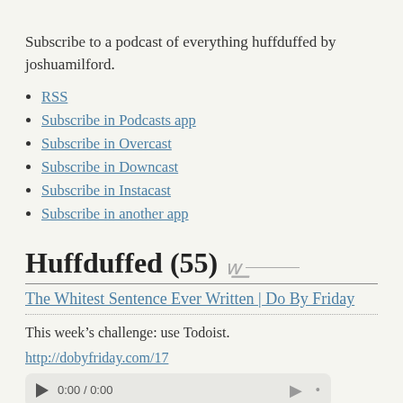Subscribe to a podcast of everything huffduffed by joshuamilford.
RSS
Subscribe in Podcasts app
Subscribe in Overcast
Subscribe in Downcast
Subscribe in Instacast
Subscribe in another app
Huffduffed (55)
The Whitest Sentence Ever Written | Do By Friday
This week's challenge: use Todoist.
http://dobyfriday.com/17